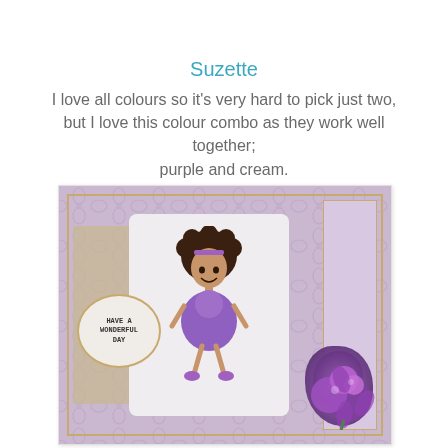Suzette
I love all colours so it's very hard to pick just two, but I love this colour combo as they work well together; purple and cream.
[Figure (photo): A handmade greeting card featuring a cartoon girl with curly hair wearing a purple dress, set against a pink damask patterned background with gold accents, a sentiment circle reading 'HAVE A WONDERFUL DAY', and purple flowers in the bottom right corner.]